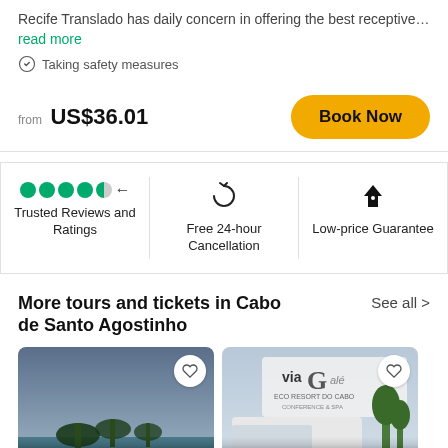Recife Translado has daily concern in offering the best receptive…read more
🛡 Taking safety measures
from US$36.01
Book Now
[Figure (infographic): Three feature icons in a row: green star rating dots with arrow (Trusted Reviews and Ratings), circular arrows (Free 24-hour Cancellation), price tag icon (Low-price Guarantee)]
More tours and tickets in Cabo de Santo Agostinho
See all >
[Figure (photo): Photo of coastal scene with palm trees at dusk. Label: Tour of 4 Beaches in Cabo]
[Figure (photo): Photo of Via Galé Eco Resort do Cabo sign on a vehicle. Label: Departure Transfer from]